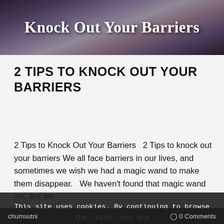[Figure (photo): Header banner image showing stone/brick wall texture with white bold serif text 'Knock Out Your Barriers' overlaid]
2 TIPS TO KNOCK OUT YOUR BARRIERS
2 Tips to Knock Out Your Barriers  2 Tips to knock out your barriers We all face barriers in our lives, and sometimes we wish we had a magic wand to make them disappear.  We haven't found that magic wand yet, but we have to offer. So continue with the barriers...
Read more →
This site uses cookies. By continuing to browse the site, you are agreeing to our use of cookies.
OK    Learn more
chumsutni   0 Comments